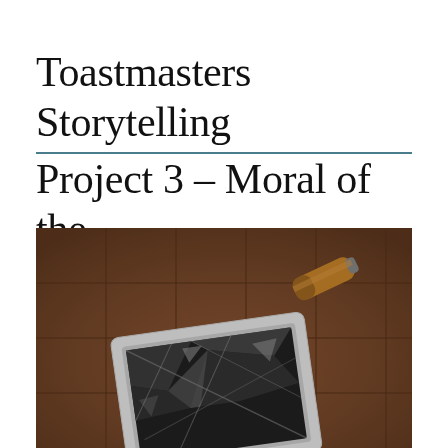Toastmasters Storytelling Project 3 – Moral of the Story – “F News”
[Figure (photo): A broken white-framed monitor or screen lying face-up on a tiled floor with shattered glass inside it, and a spray paint can lying on its side in the background. The floor tiles are rusty brown/orange colored.]